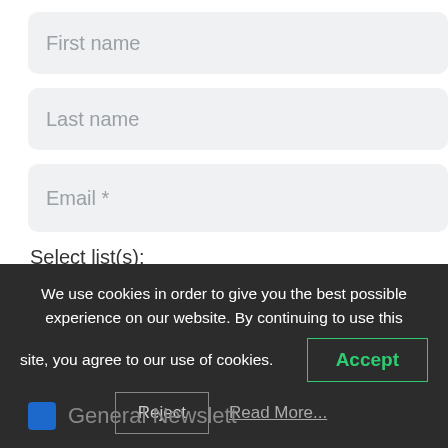[Figure (screenshot): A web form with three input fields (First name, Last name, Email *) and a checkbox list labeled 'Select list(s):' with Posts, Articles, Media Messages checked, and a partially visible fourth item. A dark cookie consent banner overlays the bottom portion with text about cookie usage and Accept, Reject, Read More... buttons.]